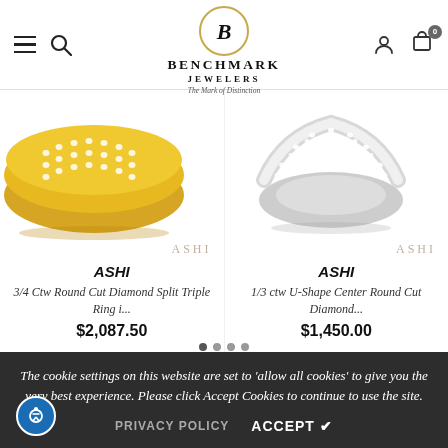Benchmark Jewelers — The Mark of Distinction
[Figure (photo): Gold diamond band ring (ASHI brand) — 3/4 Ctw Round Cut Diamond Split Triple Ring]
ASHI
ASHI
3/4 Ctw Round Cut Diamond Split Triple Ring i...
$2,087.50
[Figure (photo): White gold / platinum curved diamond band ring (ASHI brand) — 1/3 ctw U-Shape Center Round Cut Diamond]
ASHI
ASHI
1/3 ctw U-Shape Center Round Cut Diamond...
$1,450.00
The cookie settings on this website are set to 'allow all cookies' to give you the very best experience. Please click Accept Cookies to continue to use the site.
PRIVACY POLICY   ACCEPT ✔